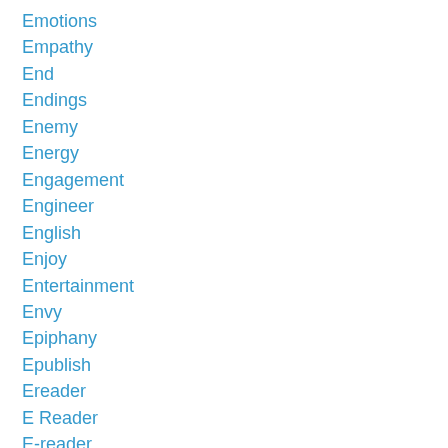Emotions
Empathy
End
Endings
Enemy
Energy
Engagement
Engineer
English
Enjoy
Entertainment
Envy
Epiphany
Epublish
Ereader
E Reader
E-reader
Errands
Escape
Escaping
Etiquette